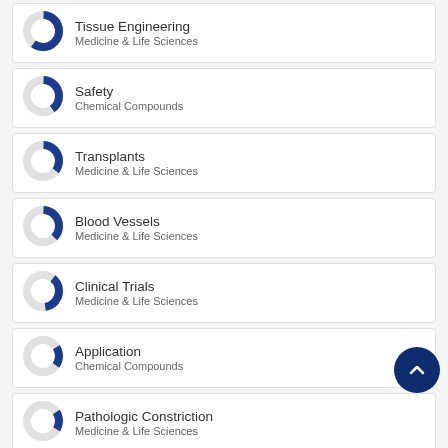[Figure (donut-chart): Donut chart showing partial fill ~60% blue]
[Figure (donut-chart): Donut chart showing partial fill ~40% blue]
[Figure (donut-chart): Donut chart showing partial fill ~35% blue]
[Figure (donut-chart): Donut chart showing partial fill ~38% blue]
[Figure (donut-chart): Donut chart showing partial fill ~37% blue]
[Figure (donut-chart): Donut chart showing partial fill ~20% blue]
[Figure (donut-chart): Donut chart showing partial fill ~18% blue]